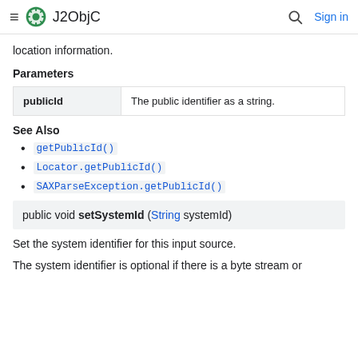J2ObjC   Sign in
location information.
Parameters
| publicId | The public identifier as a string. |
| --- | --- |
See Also
getPublicId()
Locator.getPublicId()
SAXParseException.getPublicId()
public void setSystemId (String systemId)
Set the system identifier for this input source.
The system identifier is optional if there is a byte stream or